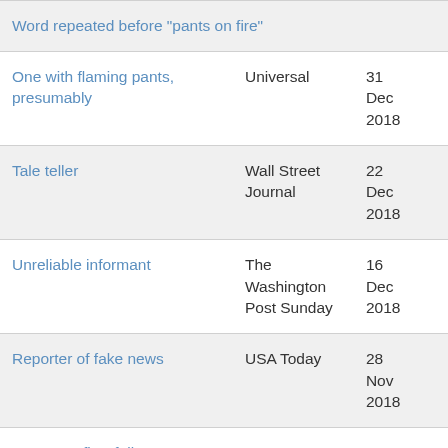| Word repeated before "pants on fire" |  |  |
| One with flaming pants, presumably | Universal | 31 Dec 2018 |
| Tale teller | Wall Street Journal | 22 Dec 2018 |
| Unreliable informant | The Washington Post Sunday | 16 Dec 2018 |
| Reporter of fake news | USA Today | 28 Nov 2018 |
| "Pants on fire" follower... | ... | ... |